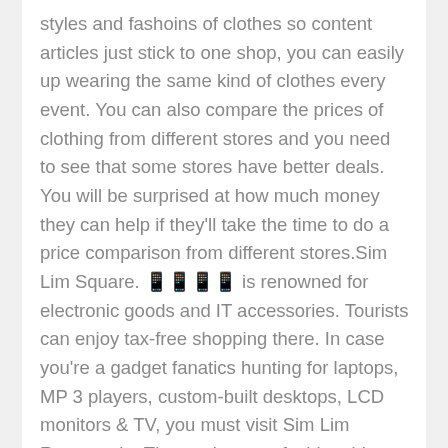styles and fashoins of clothes so content articles just stick to one shop, you can easily up wearing the same kind of clothes every event. You can also compare the prices of clothing from different stores and you need to see that some stores have better deals. You will be surprised at how much money they can help if they'll take the time to do a price comparison from different stores.Sim Lim Square. 📱📱📱📱 is renowned for electronic goods and IT accessories. Tourists can enjoy tax-free shopping there. In case you're a gadget fanatics hunting for laptops, MP 3 players, custom-built desktops, LCD monitors & TV, you must visit Sim Lim Rectangular.They arrive very fashionable styles that come more of scaled down adult hairstyles. A favored style today of girls clothes are leggings with tunic tops and boots on the feet. Blue jeans have become a favored style of girls clothing but only since morrison a pardon nineteen